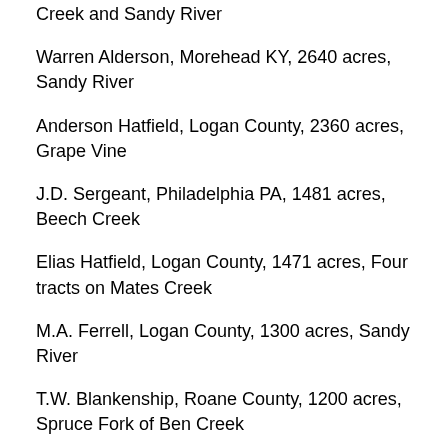Creek and Sandy River
Warren Alderson, Morehead KY, 2640 acres, Sandy River
Anderson Hatfield, Logan County, 2360 acres, Grape Vine
J.D. Sergeant, Philadelphia PA, 1481 acres, Beech Creek
Elias Hatfield, Logan County, 1471 acres, Four tracts on Mates Creek
M.A. Ferrell, Logan County, 1300 acres, Sandy River
T.W. Blankenship, Roane County, 1200 acres, Spruce Fork of Ben Creek
1888
Anderson Hatfield, Logan County, 2656 1/2 acres, Grapevine Creek